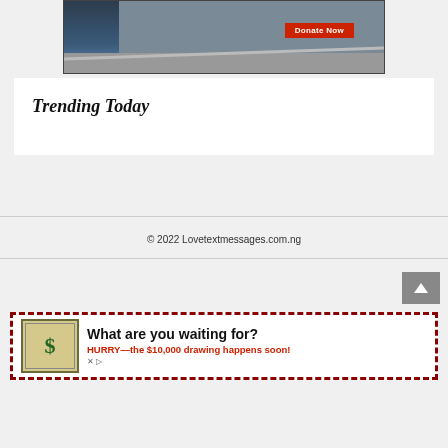[Figure (photo): Partial website screenshot showing top portion: a photo of a person in dark jacket with a red 'Donate Now' button overlay]
Trending Today
© 2022 Lovetextmessages.com.ng
[Figure (infographic): Advertisement banner: dollar bill graphic, bold text 'What are you waiting for?' and red subtext 'HURRY—the $10,000 drawing happens soon!']